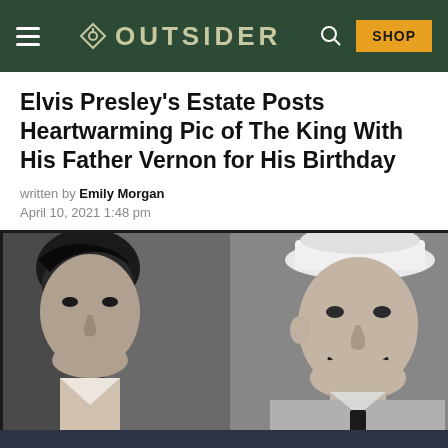OUTSIDER  SHOP
Elvis Presley's Estate Posts Heartwarming Pic of The King With His Father Vernon for His Birthday
written by Emily Morgan
April 10, 2021 1:48 pm
[Figure (photo): Black and white photograph of Elvis Presley as a young man on the left side, smiling, and an older man (Vernon Presley) on the right wearing a white hat and suit, both smiling.]